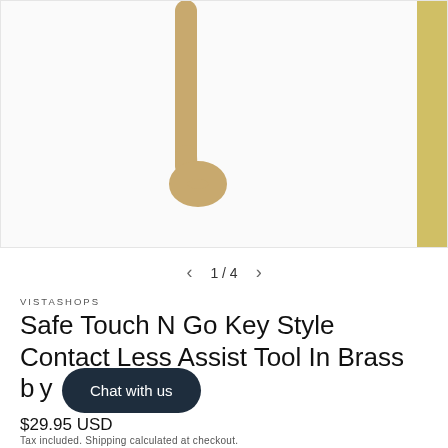[Figure (photo): Product photo showing brass key-style contactless tool, two items visible against white background, partial view of a second image on the right edge]
1 / 4
VISTASHOPS
Safe Touch N Go Key Style Contact Less Assist Tool In Brass by...ops
$29.95 USD
Tax included. Shipping calculated at checkout.